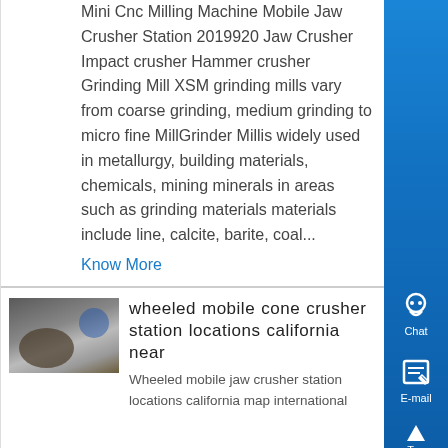Mini Cnc Milling Machine Mobile Jaw Crusher Station 2019920 Jaw Crusher Impact crusher Hammer crusher Grinding Mill XSM grinding mills vary from coarse grinding, medium grinding to micro fine MillGrinder Millis widely used in metallurgy, building materials, chemicals, mining minerals in areas such as grinding materials materials include line, calcite, barite, coal...
Know More
[Figure (photo): Thumbnail photo of a large industrial crusher or mill cylinder on a factory floor]
wheeled mobile cone crusher station locations california near
Wheeled mobile jaw crusher station locations california map international